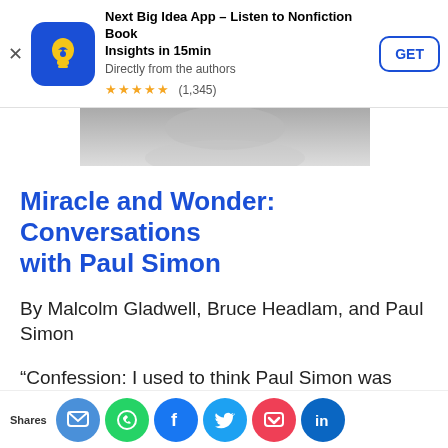[Figure (screenshot): App store banner for Next Big Idea App with icon, title, subtitle, star rating (1,345), and GET button]
[Figure (photo): Partial grayscale book cover image strip]
Miracle and Wonder: Conversations with Paul Simon
By Malcolm Gladwell, Bruce Headlam, and Paul Simon
“Confession: I used to think Paul Simon was great, but not one of the greats, not in the same league as, say, Bob Dylan or Joni Mitchell. I’ve since changed my tune thanks to Malcolm …dw…nd B…e H…m’s …ilar…g ne…
[Figure (infographic): Social sharing bar with Shares label and icons: SMS, WhatsApp, Facebook, Twitter, Pocket, LinkedIn]